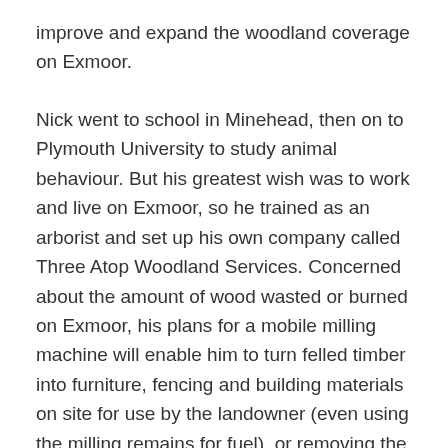improve and expand the woodland coverage on Exmoor.
Nick went to school in Minehead, then on to Plymouth University to study animal behaviour. But his greatest wish was to work and live on Exmoor, so he trained as an arborist and set up his own company called Three Atop Woodland Services. Concerned about the amount of wood wasted or burned on Exmoor, his plans for a mobile milling machine will enable him to turn felled timber into furniture, fencing and building materials on site for use by the landowner (even using the milling remains for fuel), or removing the wood for use locally elsewhere.
When informed of his success, Nick said: “I am truly grateful for this opportunity to expand my woodland business with the purchasing of mobile chainsaw milling machinery. I aim to reduce the wastage of wood on Exmoor by processing timber to